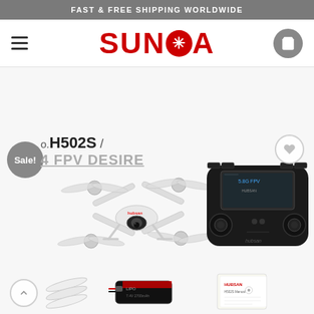FAST & FREE SHIPPING WORLDWIDE
[Figure (logo): SUNDOA logo in red with a star asterisk symbol replacing the O, on white navbar background with hamburger menu and cart icon]
[Figure (photo): Product photo of Hubsan H502S FPV Desire drone with remote controller, battery, spare propellers, and instruction manual on white background. Sale badge overlay visible.]
Hubsan H502S / 5.8G FPV DESIRE